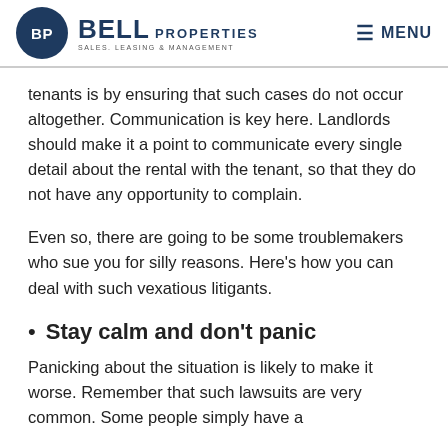BP BELL PROPERTIES SALES. LEASING & MANAGEMENT | MENU
tenants is by ensuring that such cases do not occur altogether. Communication is key here. Landlords should make it a point to communicate every single detail about the rental with the tenant, so that they do not have any opportunity to complain.
Even so, there are going to be some troublemakers who sue you for silly reasons. Here's how you can deal with such vexatious litigants.
Stay calm and don't panic
Panicking about the situation is likely to make it worse. Remember that such lawsuits are very common. Some people simply have a